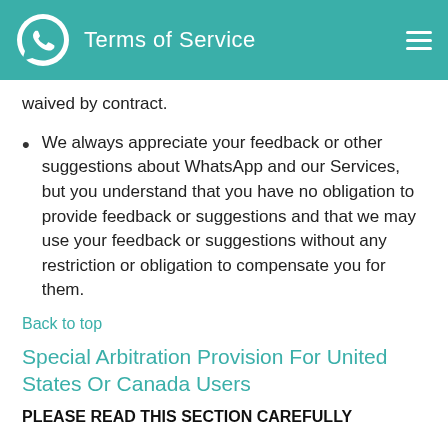Terms of Service
waived by contract.
We always appreciate your feedback or other suggestions about WhatsApp and our Services, but you understand that you have no obligation to provide feedback or suggestions and that we may use your feedback or suggestions without any restriction or obligation to compensate you for them.
Back to top
Special Arbitration Provision For United States Or Canada Users
PLEASE READ THIS SECTION CAREFULLY